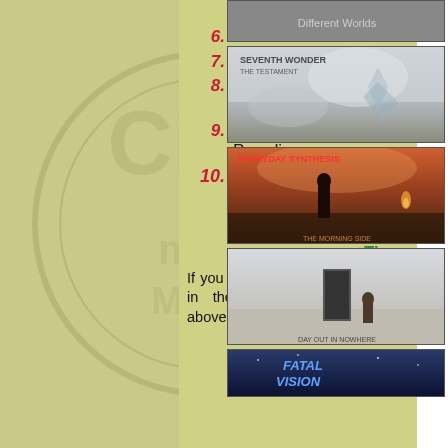[Figure (illustration): Faded watermark background with circular logo/crest on olive-green background, left two-thirds of page]
Myself
6. Drive
7. I Will
8. Today She Is On Fire
9. Friendzone Paradise
10. She Is the One
Total Running Time:
If you see any errors or omissions in the CD information shown above, either in the
[Figure (photo): Album art - top partial image at top right]
[Figure (photo): Seventh Wonder - The Testament album cover: snowy/icy scene]
[Figure (photo): Everyday Synthesis album cover: sunset desert scene with figure]
[Figure (photo): Album cover - white/snowy desolate scene with door, text 'Day Out In Nowhere']
[Figure (photo): Fatal Vision album cover - partial, blue/dark tones at bottom right]